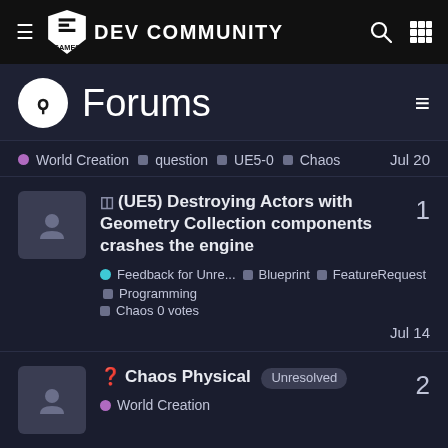Epic Games DEV COMMUNITY
Forums
● World Creation ■ question ■ UE5-0 ■ Chaos  Jul 20
⊟ (UE5) Destroying Actors with Geometry Collection components crashes the engine  1
● Feedback for Unre... ■ Blueprint ■ FeatureRequest ■ Programming ■ Chaos 0 votes  Jul 14
? Chaos Physical  Unresolved  2
● World Creation